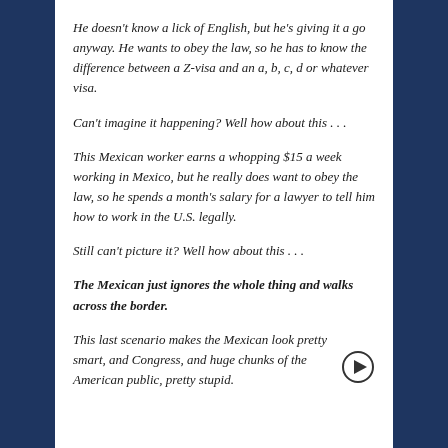He doesn't know a lick of English, but he's giving it a go anyway. He wants to obey the law, so he has to know the difference between a Z-visa and an a, b, c, d or whatever visa.
Can't imagine it happening? Well how about this . . .
This Mexican worker earns a whopping $15 a week working in Mexico, but he really does want to obey the law, so he spends a month's salary for a lawyer to tell him how to work in the U.S. legally.
Still can't picture it? Well how about this . . .
The Mexican just ignores the whole thing and walks across the border.
This last scenario makes the Mexican look pretty smart, and Congress, and huge chunks of the American public, pretty stupid.